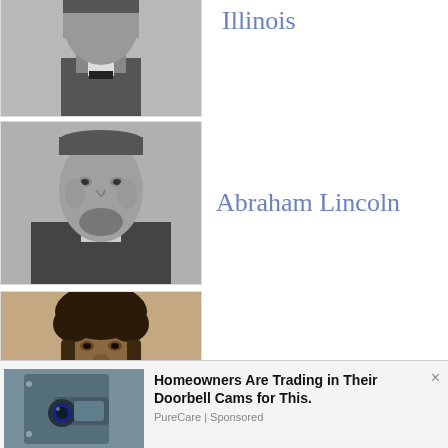[Figure (photo): Black and white portrait photo of a man in formal attire (partially visible at top)]
Illinois
[Figure (photo): Black and white portrait photo of Abraham Lincoln]
Abraham Lincoln
[Figure (photo): Sepia-toned portrait photo of a man (Frederick Douglass)]
Slavery
[Figure (photo): Photo of a security camera mounted on a wall]
Homeowners Are Trading in Their Doorbell Cams for This. PureCare | Sponsored